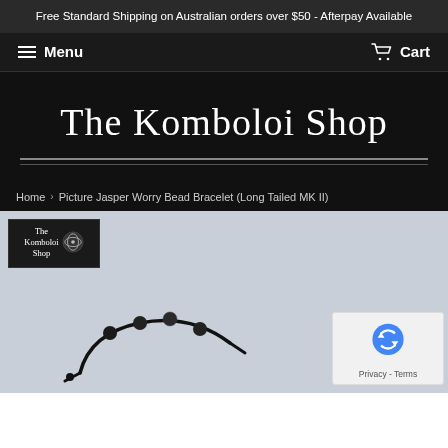Free Standard Shipping on Australian orders over $50 - Afterpay Available
THE KOMBOLOI SHOP
Home › Picture Jasper Worry Bead Bracelet (Long Tailed MK II)
[Figure (photo): Product photo of a dark bead bracelet (Picture Jasper Worry Bead Bracelet Long Tailed MK II) on a light grey background, with The Komboloi Shop logo badge in the upper left corner and a reCAPTCHA privacy badge in the lower right corner.]